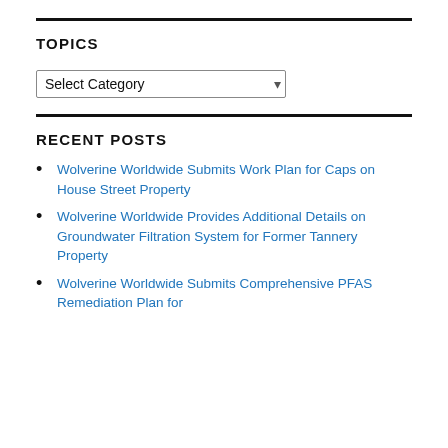TOPICS
Select Category
RECENT POSTS
Wolverine Worldwide Submits Work Plan for Caps on House Street Property
Wolverine Worldwide Provides Additional Details on Groundwater Filtration System for Former Tannery Property
Wolverine Worldwide Submits Comprehensive PFAS Remediation Plan for